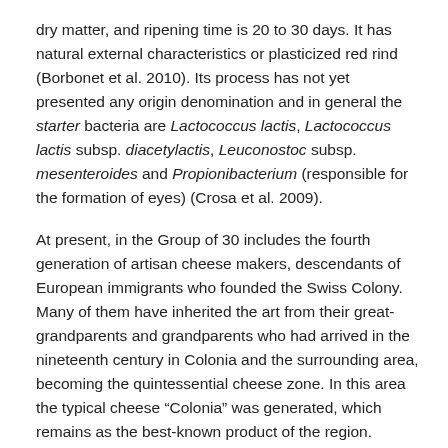dry matter, and ripening time is 20 to 30 days. It has natural external characteristics or plasticized red rind (Borbonet et al. 2010). Its process has not yet presented any origin denomination and in general the starter bacteria are Lactococcus lactis, Lactococcus lactis subsp. diacetylactis, Leuconostoc subsp. mesenteroides and Propionibacterium (responsible for the formation of eyes) (Crosa et al. 2009).
At present, in the Group of 30 includes the fourth generation of artisan cheese makers, descendants of European immigrants who founded the Swiss Colony. Many of them have inherited the art from their great-grandparents and grandparents who had arrived in the nineteenth century in Colonia and the surrounding area, becoming the quintessential cheese zone. In this area the typical cheese “Colonia” was generated, which remains as the best-known product of the region. Although Parmesan, Danbo, Cuartirolo and Parrillero cheeses are also produced, Colonia cheese is a product of the artisan tradition...